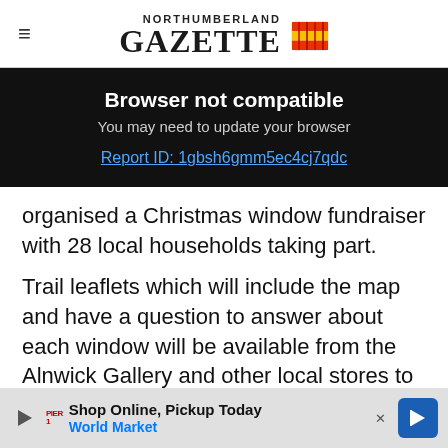NORTHUMBERLAND GAZETTE
Browser not compatible
You may need to update your browser
Report ID: 1gbsh6gmm5ec4cj7qdc
organised a Christmas window fundraiser with 28 local households taking part.
Trail leaflets which will include the map and have a question to answer about each window will be available from the Alnwick Gallery and other local stores to be confirmed. All entrants also c...ifts.
[Figure (screenshot): Advertisement bar at the bottom: Shop Online, Pickup Today - World Market with navigation icon]